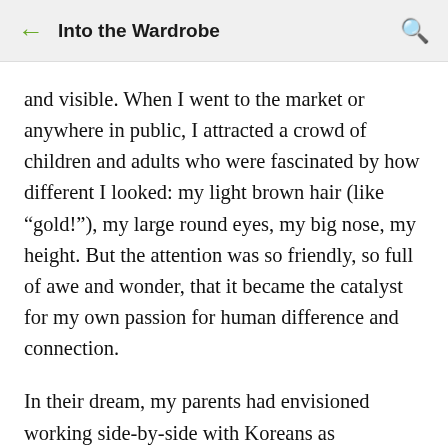Into the Wardrobe
and visible. When I went to the market or anywhere in public, I attracted a crowd of children and adults who were fascinated by how different I looked: my light brown hair (like "gold!"), my large round eyes, my big nose, my height. But the attention was so friendly, so full of awe and wonder, that it became the catalyst for my own passion for human difference and connection.
In their dream, my parents had envisioned working side-by-side with Koreans as colleagues, so they were dismayed to discover that